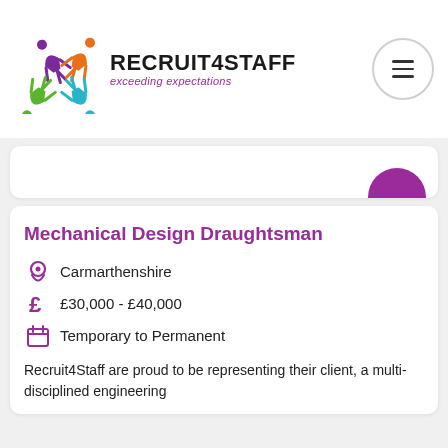[Figure (logo): Recruit4Staff logo with colourful star-shaped figure and text 'RECRUIT4STAFF exceeding expectations']
Mechanical Design Draughtsman
Carmarthenshire
£30,000 - £40,000
Temporary to Permanent
Recruit4Staff are proud to be representing their client, a multi-disciplined engineering